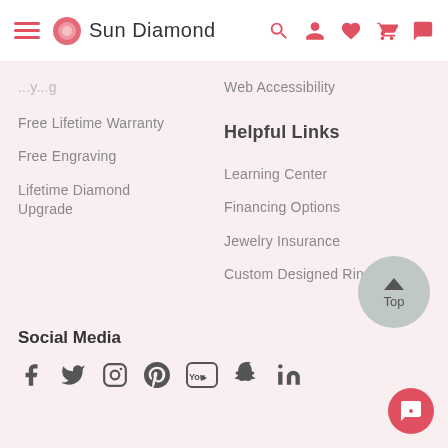Sun Diamond
Free Lifetime Warranty
Web Accessibility
Free Engraving
Helpful Links
Lifetime Diamond Upgrade
Learning Center
Financing Options
Jewelry Insurance
Custom Designed Rings
Social Media
[Figure (other): Social media icons: Facebook, Twitter, Instagram, Pinterest, YouTube, Snapchat, LinkedIn]
[Figure (other): Back to Top button - circular grey button with up arrow and 'Top' text]
[Figure (other): Chat button - circular red button at bottom right]